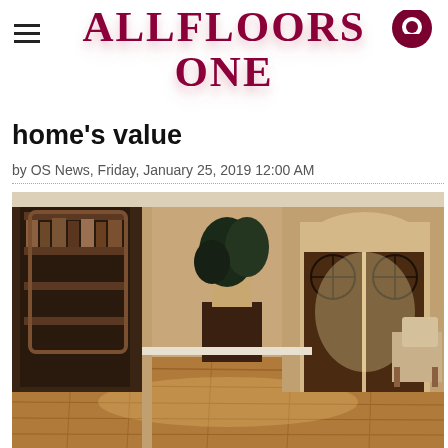[Figure (logo): AllFloors One logo with large bold dark red serif text on white background, hamburger menu icon on left, location pin icon on right]
home's value
by OS News, Friday, January 25, 2019 12:00 AM
[Figure (photo): Elegant foyer with dark hardwood flooring, arched double doors with ornate ironwork, bookcase room visible on left, chairs, and a large decorative plant arrangement]